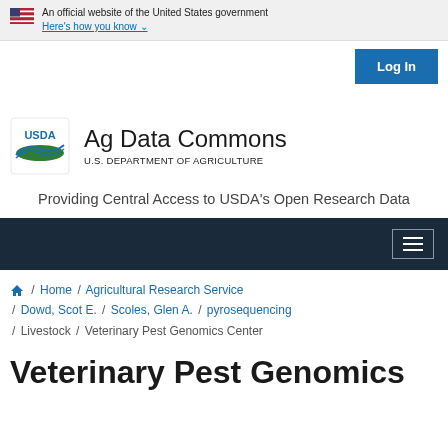An official website of the United States government Here's how you know
Log In
[Figure (logo): USDA Ag Data Commons logo with USDA shield graphic and text 'Ag Data Commons / U.S. DEPARTMENT OF AGRICULTURE']
Providing Central Access to USDA's Open Research Data
Navigation menu toggle
Home / Agricultural Research Service / Dowd, Scot E. / Scoles, Glen A. / pyrosequencing / Livestock / Veterinary Pest Genomics Center
Veterinary Pest Genomics...